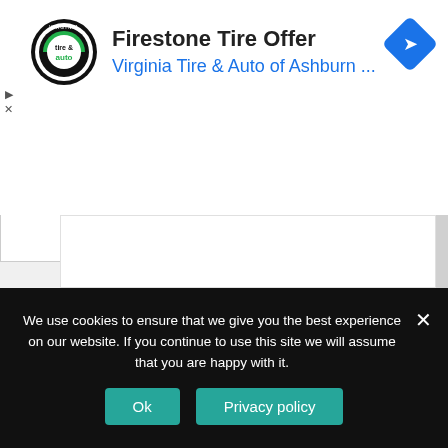[Figure (logo): Virginia Tire & Auto circular logo with 'tire & auto' text in black and green]
Firestone Tire Offer
Virginia Tire & Auto of Ashburn ...
[Figure (other): Blue diamond navigation arrow icon]
We use cookies to ensure that we give you the best experience on our website. If you continue to use this site we will assume that you are happy with it.
Ok
Privacy policy